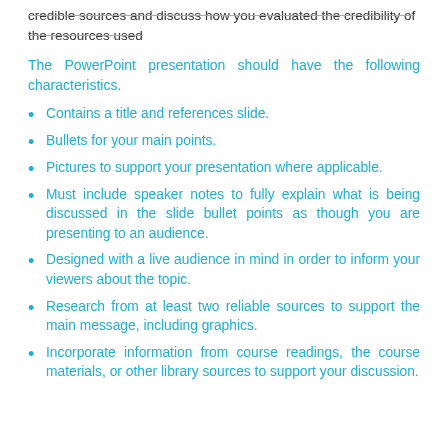credible sources and discuss how you evaluated the credibility of the resources used
The PowerPoint presentation should have the following characteristics.
Contains a title and references slide.
Bullets for your main points.
Pictures to support your presentation where applicable.
Must include speaker notes to fully explain what is being discussed in the slide bullet points as though you are presenting to an audience.
Designed with a live audience in mind in order to inform your viewers about the topic.
Research from at least two reliable sources to support the main message, including graphics.
Incorporate information from course readings, the course materials, or other library sources to support your discussion.